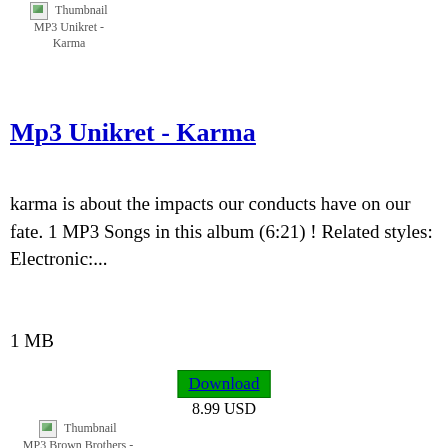[Figure (photo): Broken thumbnail image for MP3 Unikret - Karma]
Mp3 Unikret - Karma
karma is about the impacts our conducts have on our fate. 1 MP3 Songs in this album (6:21) ! Related styles: Electronic:...
1 MB
Download
8.99 USD
[Figure (photo): Broken thumbnail image for MP3 Brown Brothers - House of Electronica]